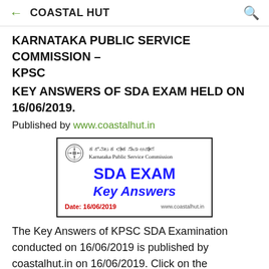← COASTAL HUT 🔍
KARNATAKA PUBLIC SERVICE COMMISSION – KPSC
KEY ANSWERS OF SDA EXAM HELD ON 16/06/2019.
Published by www.coastalhut.in
[Figure (other): KPSC card showing SDA EXAM Key Answers, Date: 16/06/2019, www.coastalhut.in, with Karnataka Public Service Commission emblem]
The Key Answers of KPSC SDA Examination conducted on 16/06/2019 is published by coastalhut.in on 16/06/2019. Click on the